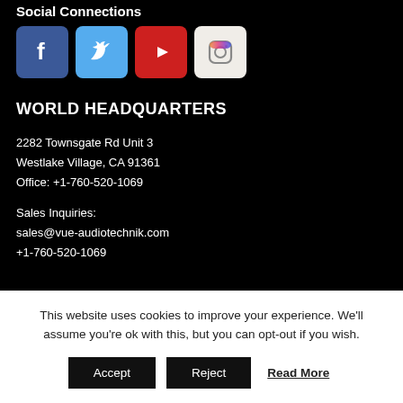Social Connections
[Figure (illustration): Four social media icons: Facebook (blue), Twitter (light blue), YouTube (red), Instagram (white/grey)]
WORLD HEADQUARTERS
2282 Townsgate Rd Unit 3
Westlake Village, CA 91361
Office: +1-760-520-1069
Sales Inquiries:
sales@vue-audiotechnik.com
+1-760-520-1069
This website uses cookies to improve your experience. We'll assume you're ok with this, but you can opt-out if you wish.